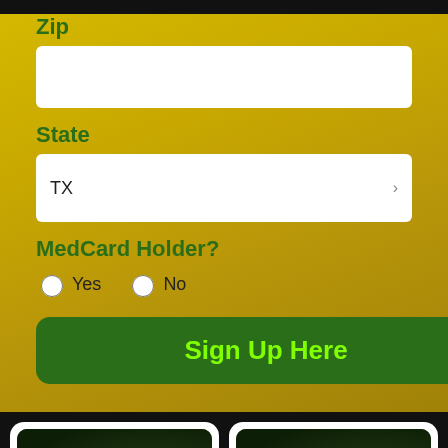Zip
State
TX
MedCard Holder?
Yes  No
Sign Up Here
[Figure (screenshot): Texas Marijuana Cards promotional card with dark green cannabis leaf background]
TEXAS
MARIJUANA CARDS
[Figure (screenshot): Texas CBD Guide promotional card with dark green cannabis leaf background]
TEXAS
CBD GUIDE
TXDispensaries.com